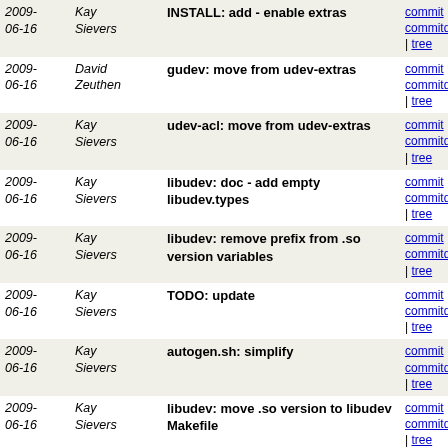| Date | Author | Message | Links |
| --- | --- | --- | --- |
| 2009-06-16 | Kay Sievers | INSTALL: add - enable extras | commit | commitdiff | tree |
| 2009-06-16 | David Zeuthen | gudev: move from udev-extras | commit | commitdiff | tree |
| 2009-06-16 | Kay Sievers | udev-acl: move from udev-extras | commit | commitdiff | tree |
| 2009-06-16 | Kay Sievers | libudev: doc - add empty libudev.types | commit | commitdiff | tree |
| 2009-06-16 | Kay Sievers | libudev: remove prefix from .so version variables | commit | commitdiff | tree |
| 2009-06-16 | Kay Sievers | TODO: update | commit | commitdiff | tree |
| 2009-06-16 | Kay Sievers | autogen.sh: simplify | commit | commitdiff | tree |
| 2009-06-16 | Kay Sievers | libudev: move .so version to libudev Makefile | commit | commitdiff | tree |
| 2009-06-16 | Kay Sievers | libudev: doc - add namespace for index | commit | commitdiff | tree |
| 2009-06-16 | Kay Sievers | update TODO | commit | commitdiff | tree |
| 2009-06-15 | Matthias Schwarzott | rules: Gentoo update | commit | commitdiff | tree |
| 2009-06-15 | Kay Sievers | libudev: doc - add queue | commit | commitdiff | tree |
| 2009-06-15 | Kay Sievers | libudev: doc - add enumerate | commit | commitdiff | tree |
| 2009- | Kay Sievers | libudev: doc - add section headers | commit | |